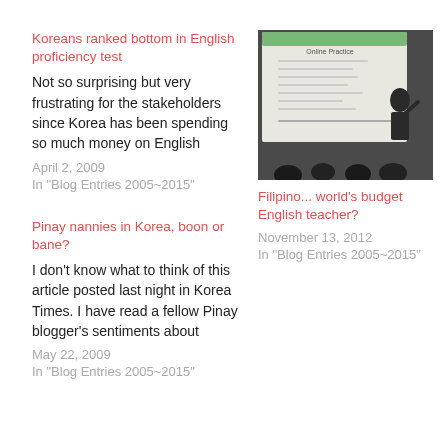Koreans ranked bottom in English proficiency test
Not so surprising but very frustrating for the stakeholders since Korea has been spending so much money on English
April 2, 2009
In "Blog Entries 2005~2015"
[Figure (photo): A person standing in front of a projected screen showing 'Online Practice' text in a classroom setting]
Filipino... world's budget English teacher?
November 13, 2012
In "Blog Entries 2005~2015"
Pinay nannies in Korea, boon or bane?
I don't know what to think of this article posted last night in Korea Times. I have read a fellow Pinay blogger's sentiments about
May 22, 2009
In "Blog Entries 2005~2015"